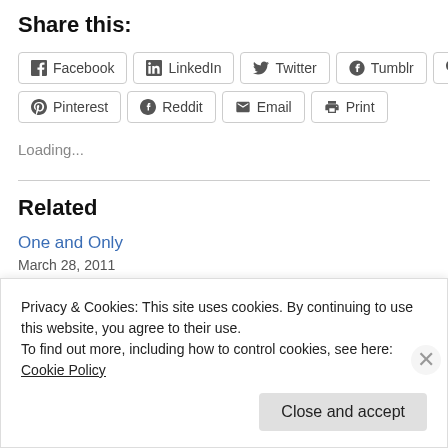Share this:
Facebook  LinkedIn  Twitter  Tumblr  Pocket  Pinterest  Reddit  Email  Print
Loading...
Related
One and Only
March 28, 2011
Privacy & Cookies: This site uses cookies. By continuing to use this website, you agree to their use.
To find out more, including how to control cookies, see here: Cookie Policy